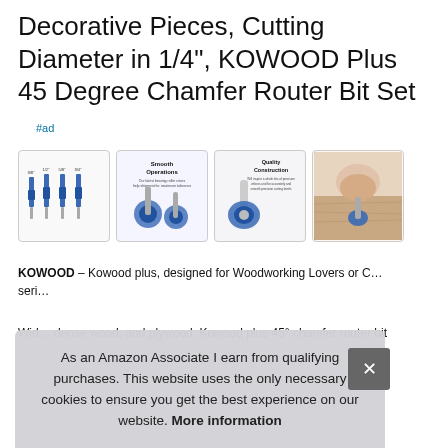Decorative Pieces, Cutting Diameter in 1/4", KOWOOD Plus 45 Degree Chamfer Router Bit Set
#ad
[Figure (photo): Four product image thumbnails of KOWOOD router bits. First shows four router bits lined up. Second labeled 'Smooth Operations'. Third labeled 'Quality Construction' showing a single bit. Fourth shows router bit being used on wood.]
KOWOOD – Kowood plus, designed for Woodworking Lovers or C... seri...
Wid... dense wood, and plywood. Kowood plus 45° chamfer router bit
As an Amazon Associate I earn from qualifying purchases. This website uses the only necessary cookies to ensure you get the best experience on our website. More information